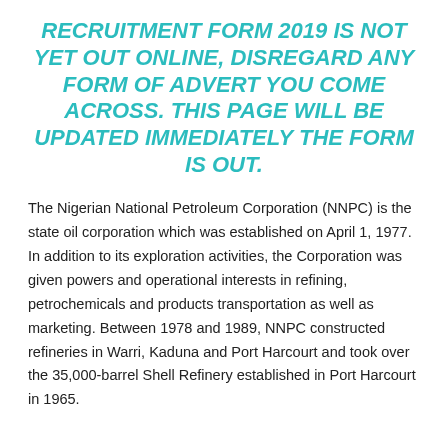RECRUITMENT FORM 2019 IS NOT YET OUT ONLINE, DISREGARD ANY FORM OF ADVERT YOU COME ACROSS. THIS PAGE WILL BE UPDATED IMMEDIATELY THE FORM IS OUT.
The Nigerian National Petroleum Corporation (NNPC) is the state oil corporation which was established on April 1, 1977. In addition to its exploration activities, the Corporation was given powers and operational interests in refining, petrochemicals and products transportation as well as marketing. Between 1978 and 1989, NNPC constructed refineries in Warri, Kaduna and Port Harcourt and took over the 35,000-barrel Shell Refinery established in Port Harcourt in 1965.